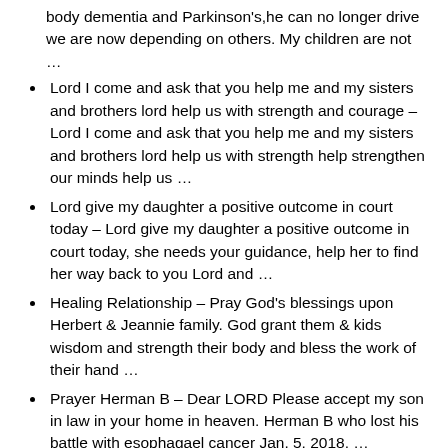body dementia and Parkinson's,he can no longer drive we are now depending on others. My children are not …
Lord I come and ask that you help me and my sisters and brothers lord help us with strength and courage – Lord I come and ask that you help me and my sisters and brothers lord help us with strength help strengthen our minds help us …
Lord give my daughter a positive outcome in court today – Lord give my daughter a positive outcome in court today, she needs your guidance, help her to find her way back to you Lord and …
Healing Relationship – Pray God's blessings upon Herbert & Jeannie family. God grant them & kids wisdom and strength their body and bless the work of their hand …
Prayer Herman B – Dear LORD Please accept my son in law in your home in heaven. Herman B who lost his battle with esophagael cancer Jan. 5, 2018. …